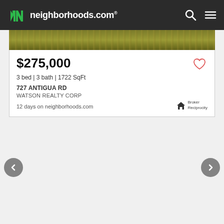neighborhoods.com
[Figure (screenshot): Property listing card showing exterior photo strip, price, bed/bath/sqft details, address, agent name, days on market, heart favorite icon, and Broker Reciprocity badge]
$275,000
3 bed | 3 bath | 1722 SqFt
727 ANTIGUA RD
WATSON REALTY CORP
12 days on neighborhoods.com